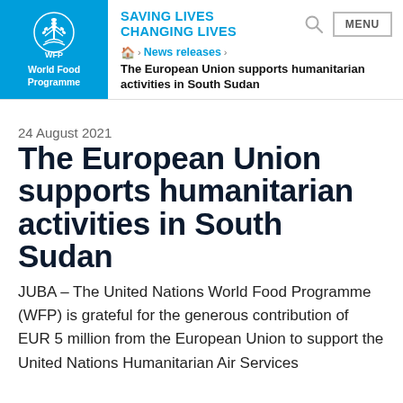[Figure (logo): World Food Programme (WFP) logo: white emblem on blue background with text 'World Food Programme']
SAVING LIVES
CHANGING LIVES
Home > News releases > The European Union supports humanitarian activities in South Sudan
24 August 2021
The European Union supports humanitarian activities in South Sudan
JUBA – The United Nations World Food Programme (WFP) is grateful for the generous contribution of EUR 5 million from the European Union to support the United Nations Humanitarian Air Services